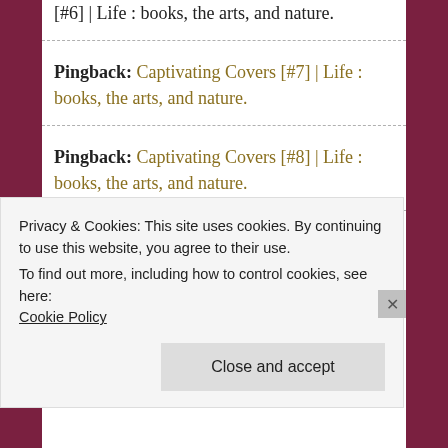[#6] | Life : books, the arts, and nature.
Pingback: Captivating Covers [#7] | Life : books, the arts, and nature.
Pingback: Captivating Covers [#8] | Life : books, the arts, and nature.
Pingback: Captivating Covers
Privacy & Cookies: This site uses cookies. By continuing to use this website, you agree to their use. To find out more, including how to control cookies, see here: Cookie Policy